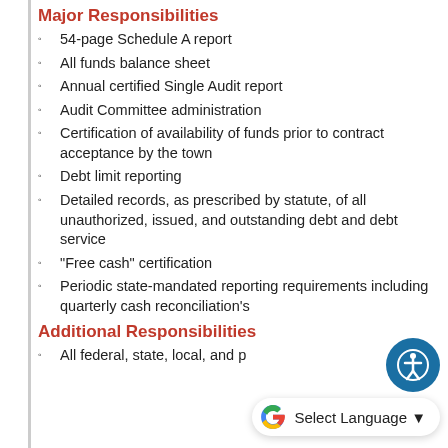Major Responsibilities
54-page Schedule A report
All funds balance sheet
Annual certified Single Audit report
Audit Committee administration
Certification of availability of funds prior to contract acceptance by the town
Debt limit reporting
Detailed records, as prescribed by statute, of all unauthorized, issued, and outstanding debt and debt service
"Free cash" certification
Periodic state-mandated reporting requirements including quarterly cash reconciliation's
Additional Responsibilities
All federal, state, local, and p…